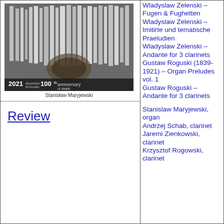[Figure (photo): Album cover photo showing organ pipes in a church interior with text '2021 ZELENSKI ROGUSKI 100th anniversary of death' and 'Stanisław Maryjewski']
Stanisław Maryjewski
Review
Wladyslaw Zelenski – Fugen & Fughetten
Wladyslaw Zelenski – Imitirte und tematische Praeludien
Wladyslaw Zelenski – Andante for 3 clarinets
Gustaw Roguski (1839-1921) – Organ Preludes vol. 1
Gustaw Roguski – Andante for 3 clarinets

Stanislaw Maryjewski, organ
Andrzej Schab, clarinet
Jaremi Zienkowski, clarinet
Krzysztof Rogowski, clarinet